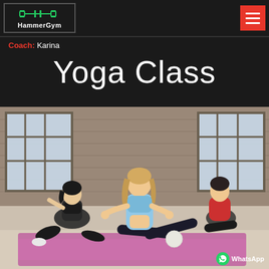HammerGym
Coach: Karina
Yoga Class
[Figure (photo): Three women doing yoga poses on pink and purple mats in a gym with large industrial windows and brick walls. The central woman wears a light blue sports bra and black pants in a seated stretch pose.]